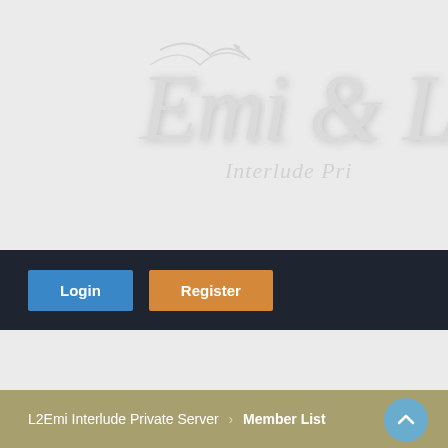[Figure (logo): Decorative script logo reading 'Emi & LI...' with 'Interlude Pri...' subtitle in italic, white text with shadow on light gray background]
Login
Register
L2Emi Interlude Private Server › Member List